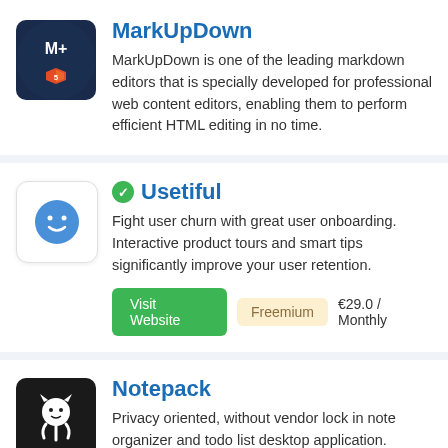[Figure (logo): MarkUpDown app logo — dark navy circle with M+ and HTML5 shield icon]
MarkUpDown
MarkUpDown is one of the leading markdown editors that is specially developed for professional web content editors, enabling them to perform efficient HTML editing in no time.
[Figure (logo): Usetiful app logo — blue smiley face with navigation arrows on white rounded square]
Usetiful
Fight user churn with great user onboarding. Interactive product tours and smart tips significantly improve your user retention.
Visit Website   Freemium   €29.0 / Monthly
[Figure (logo): Notepack app logo — GitHub-style cat/octocat icon on black rounded square]
Notepack
Privacy oriented, without vendor lock in note organizer and todo list desktop application.